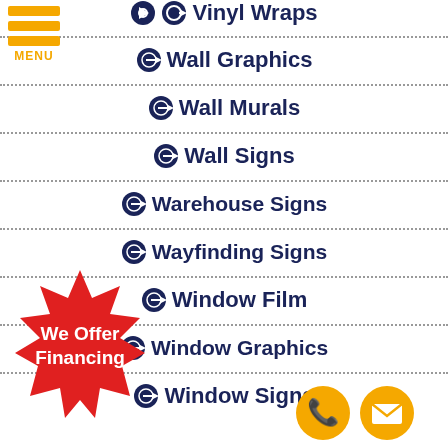[Figure (logo): Hamburger menu icon with three orange bars and MENU text]
Vinyl Wraps
Wall Graphics
Wall Murals
Wall Signs
Warehouse Signs
Wayfinding Signs
Window Film
Window Graphics
Window Signs
[Figure (illustration): Red starburst badge with white text 'We Offer Financing']
[Figure (illustration): Gold circle phone icon]
[Figure (illustration): Gold circle email/envelope icon]